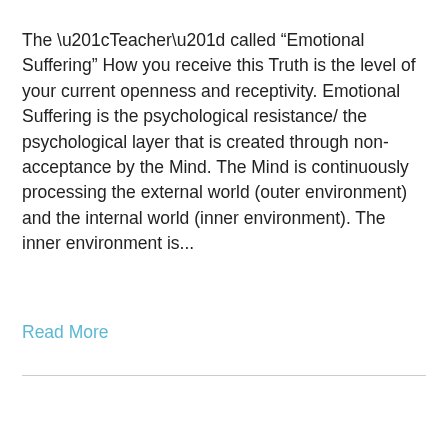The “Teacher” called “Emotional Suffering” How you receive this Truth is the level of your current openness and receptivity. Emotional Suffering is the psychological resistance/ the psychological layer that is created through non-acceptance by the Mind. The Mind is continuously processing the external world (outer environment) and the internal world (inner environment). The inner environment is...
Read More